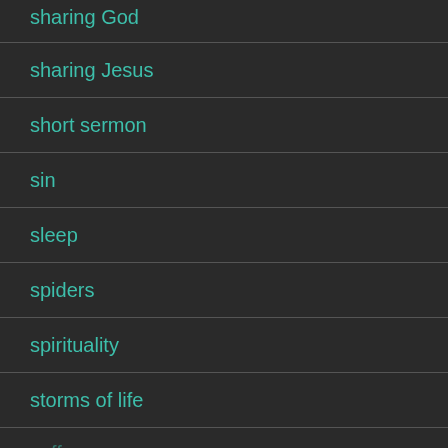sharing God
sharing Jesus
short sermon
sin
sleep
spiders
spirituality
storms of life
suffering (partial)